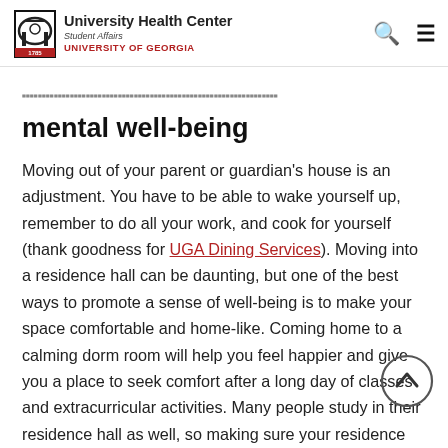University Health Center | Student Affairs | UNIVERSITY OF GEORGIA
mental well-being
Moving out of your parent or guardian's house is an adjustment. You have to be able to wake yourself up, remember to do all your work, and cook for yourself (thank goodness for UGA Dining Services). Moving into a residence hall can be daunting, but one of the best ways to promote a sense of well-being is to make your space comfortable and home-like. Coming home to a calming dorm room will help you feel happier and give you a place to seek comfort after a long day of classes and extracurricular activities. Many people study in their residence hall as well, so making sure your residence hall is less